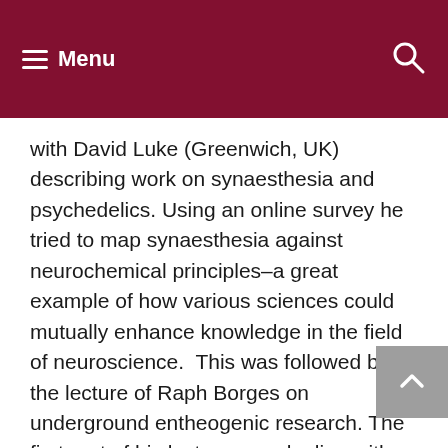Menu
with David Luke (Greenwich, UK) describing work on synaesthesia and psychedelics. Using an online survey he tried to map synaesthesia against neurochemical principles–a great example of how various sciences could mutually enhance knowledge in the field of neuroscience.  This was followed by the lecture of Raph Borges on underground entheogenic research. The first part of his lecture was dealing with analytical work on possible psycho-active drugs, almost a motion of distrust against analytical science as we know it, re-inventing the wheel. The second part dealt with the use of community participation in